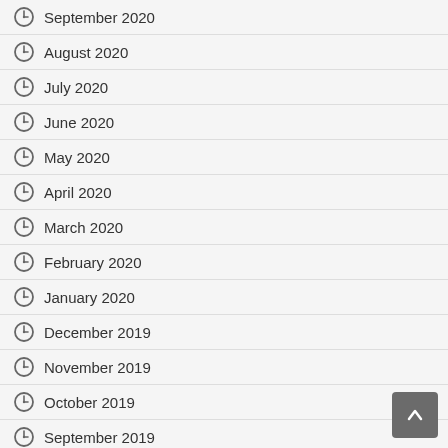September 2020
August 2020
July 2020
June 2020
May 2020
April 2020
March 2020
February 2020
January 2020
December 2019
November 2019
October 2019
September 2019
August 2019
July 2019